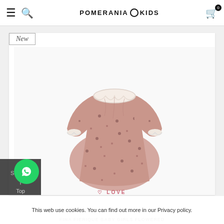POMERANIA KIDS
[Figure (photo): Baby girl pink floral dress with white lace collar and cuffs, full sleeves, gathered bodice. Product photo on white background. 'New' badge in top-left corner.]
This web use cookies. You can find out more in our Privacy policy.
FINA FIERIQUE BABY GIRLS FLOWERED